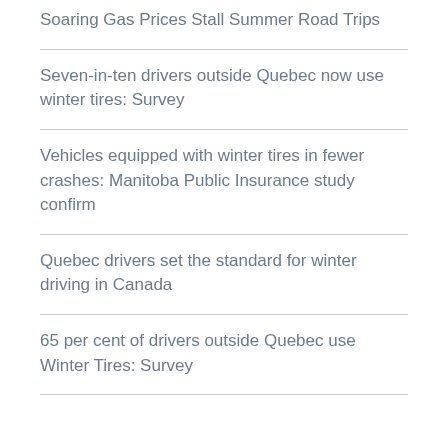Soaring Gas Prices Stall Summer Road Trips
Seven-in-ten drivers outside Quebec now use winter tires: Survey
Vehicles equipped with winter tires in fewer crashes: Manitoba Public Insurance study confirm
Quebec drivers set the standard for winter driving in Canada
65 per cent of drivers outside Quebec use Winter Tires: Survey